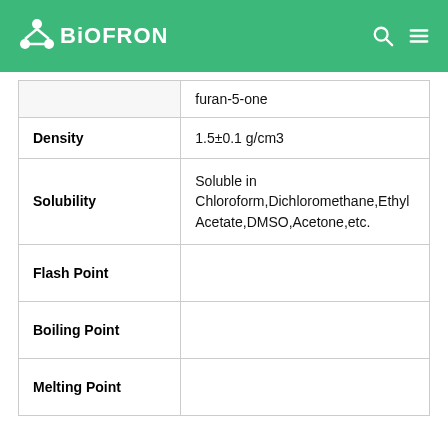BIOFRON
| Property | Value |
| --- | --- |
|  | furan-5-one |
| Density | 1.5±0.1 g/cm3 |
| Solubility | Soluble in Chloroform,Dichloromethane,Ethyl Acetate,DMSO,Acetone,etc. |
| Flash Point |  |
| Boiling Point |  |
| Melting Point |  |